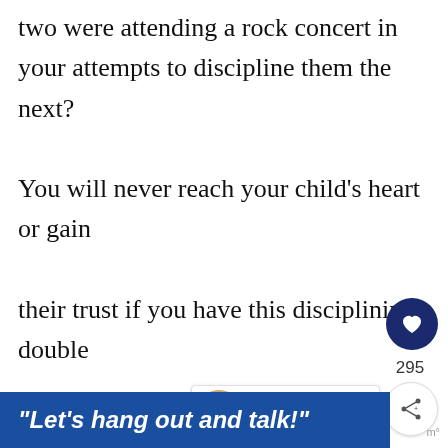two were attending a rock concert in your attempts to discipline them the next?

You will never reach your child's heart or gain their trust if you have this disciplining double standard.

Just as much as you show them love during their good days, when they make (and they will), you need to readily display a... ...ay
[Figure (other): Heart/like button (dark blue circle with white heart icon) with count 295, and a share button below it]
[Figure (other): WHAT'S NEXT panel with thumbnail image and text: Parenting Tips - Raising Ki...]
“Let’s hang out and talk!”